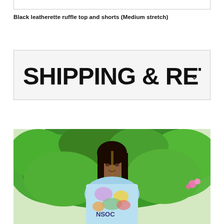Black leatherette ruffle top and shorts (Medium stretch)
[Figure (other): Shipping & Returns section header with decorative bubbly font and a downward chevron indicating expandable content]
[Figure (photo): A young woman with long dark hair wearing a colorful tie-dye t-shirt standing in front of green leafy bushes outdoors]